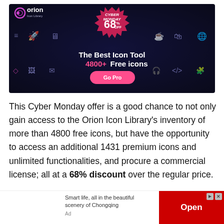[Figure (infographic): Orion Icon Library Cyber Monday advertisement banner. Dark navy background with neon icon illustrations. Features Orion logo top-left, a pink starburst badge showing 'CYBER MONDAY 68% OFF' in the center-top. Center text reads 'The Best Icon Tool' and '4800+ Free icons' with a pink 'Go Pro' button.]
This Cyber Monday offer is a good chance to not only gain access to the Orion Icon Library's inventory of more than 4800 free icons, but have the opportunity to access an additional 1431 premium icons and unlimited functionalities, and procure a commercial license; all at a 68% discount over the regular price.
[Figure (infographic): Small advertisement banner at the bottom: 'Smart life, all in the beautiful scenery of Chongqing' with an 'Open' button on a red background. Labeled 'Ad'.]